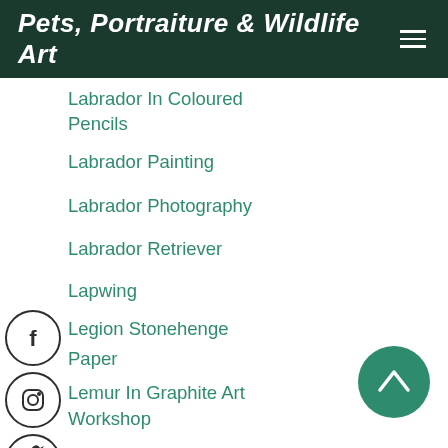Pets, Portraiture & Wildlife Art
Labrador In Coloured Pencils
Labrador Painting
Labrador Photography
Labrador Retriever
Lapwing
Legion Stonehenge Paper
Lemur In Graphite Art Workshop
Linnet
Little Egret
Little Owl